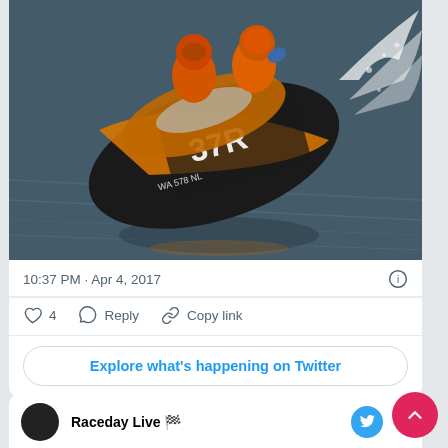[Figure (photo): Aerial photo of a racing hydroplane boat numbered 37R in orange and dark colors, with two riders in orange suits and helmets, speeding across dark water leaving a wake spray.]
10:37 PM · Apr 4, 2017
4   Reply   Copy link
Explore what's happening on Twitter
Raceday Live 🏁